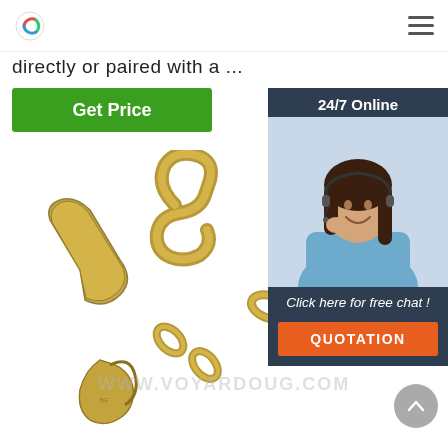Logo and navigation menu
directly or paired with a ...
Get Price
[Figure (photo): Customer service representative woman with headset smiling, overlaid with 24/7 Online label, Click here for free chat text, and QUOTATION button on dark background widget]
[Figure (photo): Gold/brass chain with hooks and links on white background, product photo with www.voyardoug.com watermark]
WWW.VOYARDOUG.COM